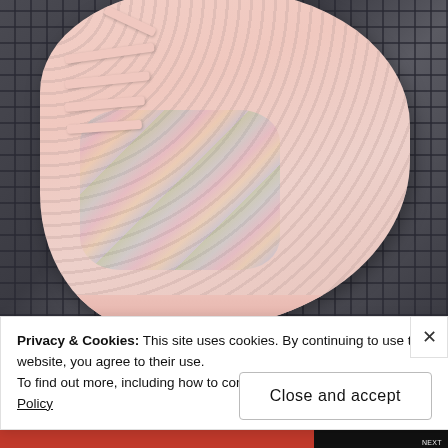[Figure (photo): Close-up photo of a pink knit sneaker with multicolor (rainbow) thread details and pink laces, resting against a dark metal grid/grate background.]
Privacy & Cookies: This site uses cookies. By continuing to use this website, you agree to their use.
To find out more, including how to control cookies, see here: Cookie Policy
Close and accept